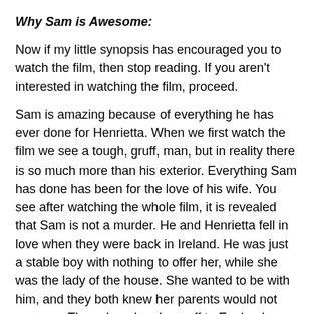Why Sam is Awesome:
Now if my little synopsis has encouraged you to watch the film, then stop reading. If you aren't interested in watching the film, proceed.
Sam is amazing because of everything he has ever done for Henrietta. When we first watch the film we see a tough, gruff, man, but in reality there is so much more than his exterior. Everything Sam has done has been for the love of his wife. You see after watching the whole film, it is revealed that Sam is not a murder. He and Henrietta fell in love when they were back in Ireland. He was just a stable boy with nothing to offer her, while she was the lady of the house. She wanted to be with him, and they both knew her parents would not approve. They eloped and ran off to England, where Sam was determined to care for her.